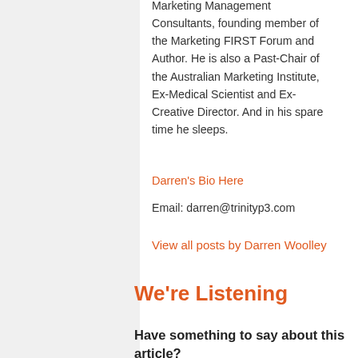Marketing Management Consultants, founding member of the Marketing FIRST Forum and Author. He is also a Past-Chair of the Australian Marketing Institute, Ex-Medical Scientist and Ex-Creative Director. And in his spare time he sleeps.
Darren's Bio Here
Email: darren@trinityp3.com
View all posts by Darren Woolley
We're Listening
Have something to say about this article? Share it with us on Twitter, Facebook or